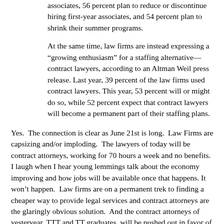associates, 56 percent plan to reduce or discontinue hiring first-year associates, and 54 percent plan to shrink their summer programs.
At the same time, law firms are instead expressing a “growing enthusiasm” for a staffing alternative—contract lawyers, according to an Altman Weil press release. Last year, 39 percent of the law firms used contract lawyers. This year, 53 percent will or might do so, while 52 percent expect that contract lawyers will become a permanent part of their staffing plans.
Yes.  The connection is clear as June 21st is long.  Law Firms are capsizing and/or imploding.  The lawyers of today will be contract attorneys, working for 70 hours a week and no benefits.  I laugh when I hear young lemmings talk about the economy improving and how jobs will be available once that happens. It won’t happen.  Law firms are on a permanent trek to finding a cheaper way to provide legal services and contract attorneys are the glaringly obvious solution.  And the contract attorneys of yesteryear, TTT and TT graduates, will be pushed out in favor of T14 contract